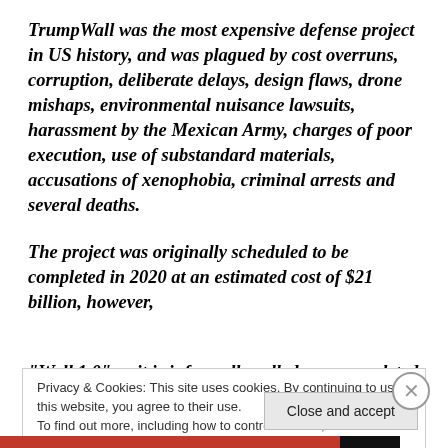TrumpWall was the most expensive defense project in US history, and was plagued by cost overruns, corruption, deliberate delays, design flaws, drone mishaps, environmental nuisance lawsuits, harassment by the Mexican Army, charges of poor execution, use of substandard materials, accusations of xenophobia, criminal arrests and several deaths.

The project was originally scheduled to be completed in 2020 at an estimated cost of $21 billion, however, "Wall 1.0" as it is informally called, was completed
Privacy & Cookies: This site uses cookies. By continuing to use this website, you agree to their use.
To find out more, including how to control cookies, see here: Cookie Policy
Close and accept